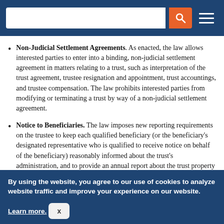[Navigation bar with search box and menu icon]
Non-Judicial Settlement Agreements. As enacted, the law allows interested parties to enter into a binding, non-judicial settlement agreement in matters relating to a trust, such as interpretation of the trust agreement, trustee resignation and appointment, trust accountings, and trustee compensation. The law prohibits interested parties from modifying or terminating a trust by way of a non-judicial settlement agreement.
Notice to Beneficiaries. The law imposes new reporting requirements on the trustee to keep each qualified beneficiary (or the beneficiary's designated representative who is qualified to receive notice on behalf of the beneficiary) reasonably informed about the trust's administration, and to provide an annual report about the trust property upon request.
By using the website, you agree to our use of cookies to analyze website traffic and improve your experience on our website. Learn more.